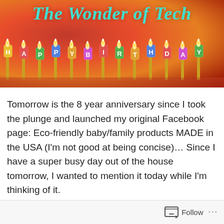[Figure (photo): Blog header image for 'The Wonder of Tech' showing birthday candles spelling out HAPPY BIRTHDAY on an orange/red glowing background, with cyan italic bold title text 'The Wonder of Tech' overlaid at top]
Tomorrow is the 8 year anniversary since I took the plunge and launched my original Facebook page: Eco-friendly baby/family products MADE in the USA (I'm not good at being concise)… Since I have a super busy day out of the house tomorrow, I wanted to mention it today while I'm thinking of it.
Follow ...